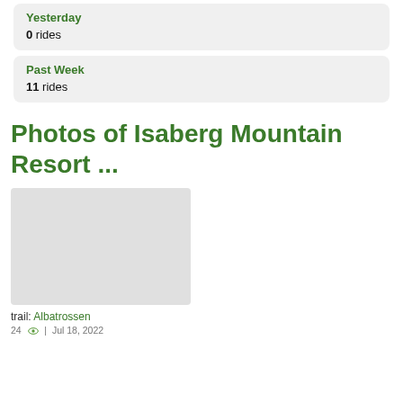Yesterday
0 rides
Past Week
11 rides
Photos of Isaberg Mountain Resort ...
[Figure (photo): A mountain bike trail photo, appears blank/light colored placeholder]
trail: Albatrossen
24 | Jul 18, 2022